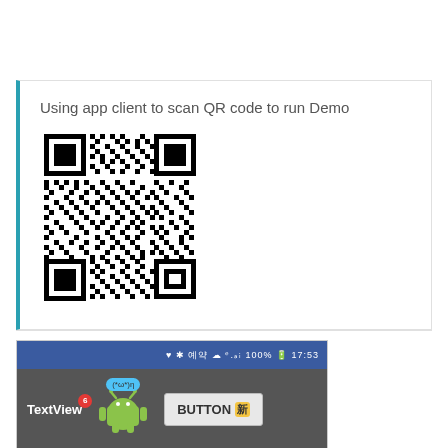Using app client to scan QR code to run Demo
[Figure (other): QR code image for scanning with a mobile app client to run a demo]
[Figure (screenshot): Android app screenshot showing a dark UI with TextView label (red badge '6'), an Android robot icon with speech bubble saying '(*ω*)η', and a BUTTON with kanji character '新']